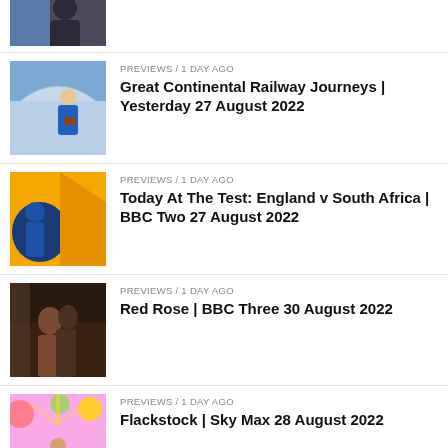[Figure (photo): Partial view of a person (cropped at top), dark clothing, blue background]
[Figure (photo): Man in blue blazer at a railway station]
PREVIEWS / 1 day ago
Great Continental Railway Journeys | Yesterday 27 August 2022
[Figure (photo): Colorful animated/illustrated image with yellow, blue and dark shapes]
PREVIEWS / 1 day ago
Today At The Test: England v South Africa | BBC Two 27 August 2022
[Figure (photo): Two people in an embrace in a dark scene]
PREVIEWS / 1 day ago
Red Rose | BBC Three 30 August 2022
[Figure (photo): Woman in blue dress against a colorful festive background]
PREVIEWS / 1 day ago
Flackstock | Sky Max 28 August 2022